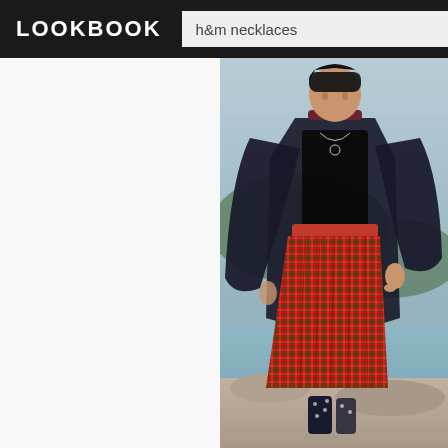LOOKBOOK   h&m necklaces
[Figure (photo): Fashion photo of a woman wearing a black kimono-style coat over a black top and a red tartan plaid high-waisted midi skirt with a maroon choker necklace and a small pendant necklace, standing outdoors near a rocky coastline with hills and water in the background. She is wearing dark polka-dot socks.]